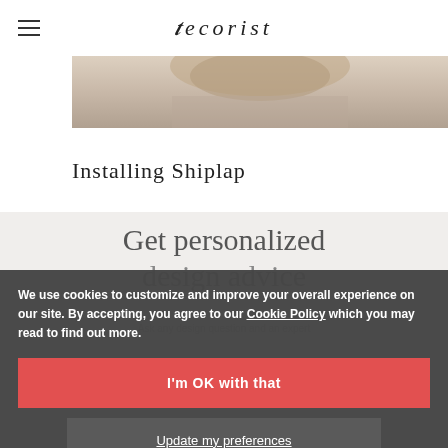decorist
[Figure (photo): Partial photo of a person, cropped at top of page]
Installing Shiplap
Get personalized design advice
We use cookies to customize and improve your overall experience on our site. By accepting, you agree to our Cookie Policy which you may read to find out more.
Ask any design question and an expert
I'm OK with that
Update my preferences
ASK A DESIGNER